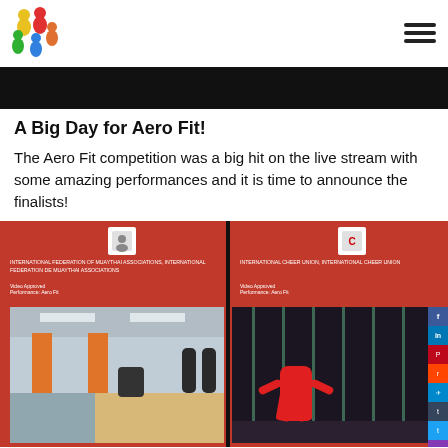[Figure (logo): Colorful logo with people figures in red, yellow, green, blue]
[Figure (other): Hamburger menu icon (three horizontal lines)]
[Figure (other): Black banner/header image strip]
A Big Day for Aero Fit!
The Aero Fit competition was a big hit on the live stream with some amazing performances and it is time to announce the finalists!
[Figure (photo): Two side-by-side competition approval panels: left showing gym/martial arts training space with orange pillars and blue mats, right showing performers in red costumes on a stage with LED light curtains. Both panels have federation logos and Video Approved badges.]